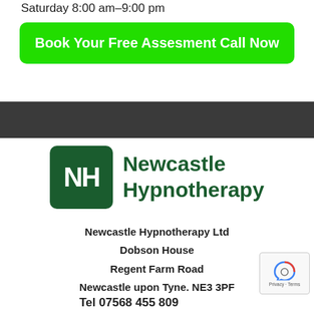Saturday 8:00 am–9:00 pm
Book Your Free Assesment Call Now
[Figure (logo): Newcastle Hypnotherapy logo — dark green rounded square with white NH letters beside bold dark green text reading Newcastle Hypnotherapy]
Newcastle Hypnotherapy Ltd
Dobson House
Regent Farm Road
Newcastle upon Tyne. NE3 3PF
Tel 07568 455 809